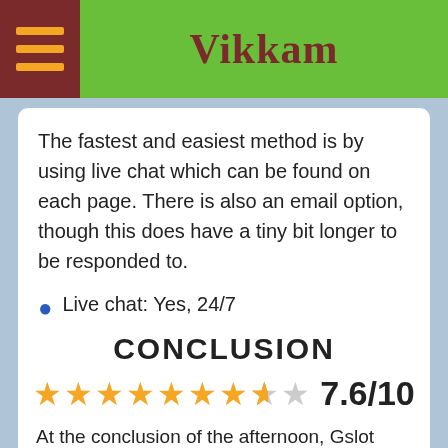Vikkam
The fastest and easiest method is by using live chat which can be found on each page. There is also an email option, though this does have a tiny bit longer to be responded to.
Live chat: Yes, 24/7
Email: Online form
CONCLUSION
7.6/10
At the conclusion of the afternoon, Gslot Casino is a pretty great casino site for Australian players. Whilst not created specifically for Australians, it still manages to offer an assortment of features and easy navigation for all player types. There is an extensive selection of games